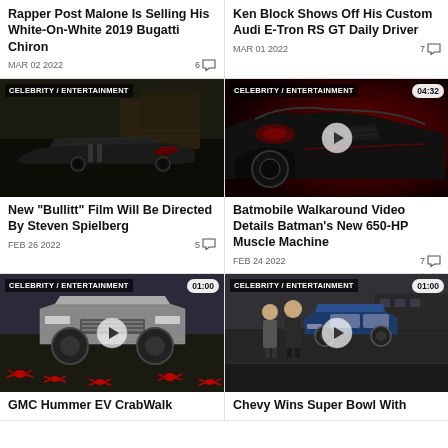Rapper Post Malone Is Selling His White-On-White 2019 Bugatti Chiron
MAR 02 2022   6
Ken Block Shows Off His Custom Audi E-Tron RS GT Daily Driver
MAR 01 2022   7
[Figure (photo): Dark Ford Mustang Bullitt rear view in barn setting, CELEBRITY / ENTERTAINMENT label]
[Figure (photo): Red Batmobile close-up with video play button and 04:32 duration, CELEBRITY / ENTERTAINMENT label]
New "Bullitt" Film Will Be Directed By Steven Spielberg
FEB 26 2022   5
Batmobile Walkaround Video Details Batman's New 650-HP Muscle Machine
FEB 24 2022   7
[Figure (photo): GMC Hummer EV with crabs on ground, play button and 01:00 duration, CELEBRITY / ENTERTAINMENT label]
[Figure (photo): Two people standing by blue car, play button and 01:00 duration, CELEBRITY / ENTERTAINMENT label]
GMC Hummer EV CrabWalk
Chevy Wins Super Bowl With